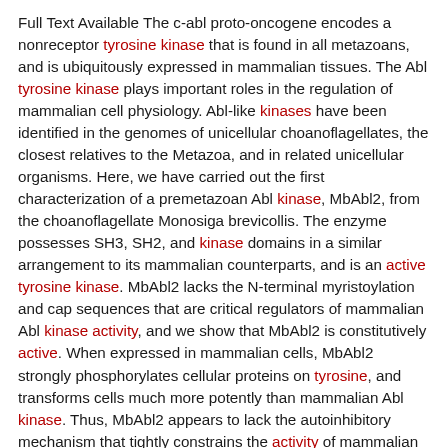Full Text Available The c-abl proto-oncogene encodes a nonreceptor tyrosine kinase that is found in all metazoans, and is ubiquitously expressed in mammalian tissues. The Abl tyrosine kinase plays important roles in the regulation of mammalian cell physiology. Abl-like kinases have been identified in the genomes of unicellular choanoflagellates, the closest relatives to the Metazoa, and in related unicellular organisms. Here, we have carried out the first characterization of a premetazoan Abl kinase, MbAbl2, from the choanoflagellate Monosiga brevicollis. The enzyme possesses SH3, SH2, and kinase domains in a similar arrangement to its mammalian counterparts, and is an active tyrosine kinase. MbAbl2 lacks the N-terminal myristoylation and cap sequences that are critical regulators of mammalian Abl kinase activity, and we show that MbAbl2 is constitutively active. When expressed in mammalian cells, MbAbl2 strongly phosphorylates cellular proteins on tyrosine, and transforms cells much more potently than mammalian Abl kinase. Thus, MbAbl2 appears to lack the autoinhibitory mechanism that tightly constrains the activity of mammalian Abl kinases, suggesting that this regulatory apparatus arose more recently in metazoan evolution.